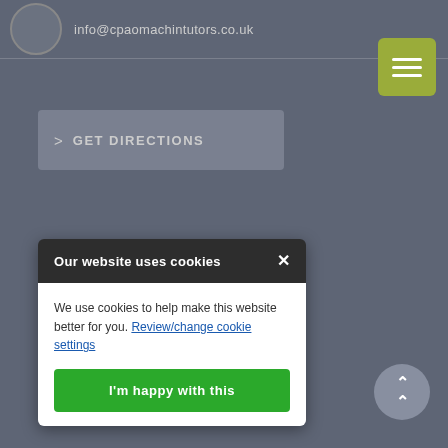info@cpaomachintutors.co.uk
[Figure (screenshot): Olive/yellow-green hamburger menu button in top right corner]
> GET DIRECTIONS
[Figure (screenshot): Cookie consent banner with dark header 'Our website uses cookies', body text about cookie usage, a link 'Review/change cookie settings', and a green 'I'm happy with this' button]
[Figure (screenshot): Round back-to-top button with double chevron arrows on the right side]